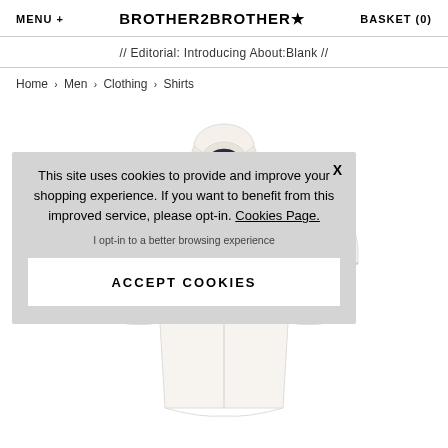MENU + BROTHER2BROTHER★ BASKET (0)
// Editorial: Introducing About:Blank //
Home › Men › Clothing › Shirts
[Figure (photo): White short-sleeve dress shirt displayed on invisible mannequin against white background]
This site uses cookies to provide and improve your shopping experience. If you want to benefit from this improved service, please opt-in. Cookies Page.
I opt-in to a better browsing experience
ACCEPT COOKIES